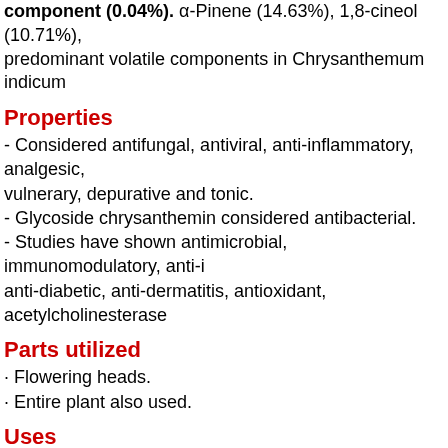component (0.04%). α-Pinene (14.63%), 1,8-cineol (10.71%) predominant volatile components in Chrysanthemum indicum
Properties
- Considered antifungal, antiviral, anti-inflammatory, analgesic, vulnerary, depurative and tonic.
- Glycoside chrysanthemin considered antibacterial.
- Studies have shown antimicrobial, immunomodulatory, anti-inflammatory, anti-diabetic, anti-dermatitis, antioxidant, acetylcholinesterase
Parts utilized
· Flowering heads.
· Entire plant also used.
Uses
Culinary / Edibility
· Seeds, flowers, leaves are edible.
· Dried flowers used in making clear yellow tea with a delicate floral aroma.
Folkloric
· Preventive for cough, flu, epidemic meningitis.
· Folkloric [more content]